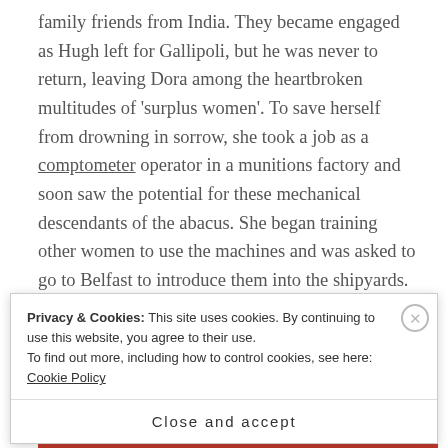family friends from India. They became engaged as Hugh left for Gallipoli, but he was never to return, leaving Dora among the heartbroken multitudes of 'surplus women'. To save herself from drowning in sorrow, she took a job as a comptometer operator in a munitions factory and soon saw the potential for these mechanical descendants of the abacus. She began training other women to use the machines and was asked to go to Belfast to introduce them into the shipyards.
[Figure (photo): Partial view of a photograph, mostly obscured by the cookie consent banner overlay. A brown/tan angular shape is visible at the top.]
Privacy & Cookies: This site uses cookies. By continuing to use this website, you agree to their use.
To find out more, including how to control cookies, see here: Cookie Policy
Close and accept